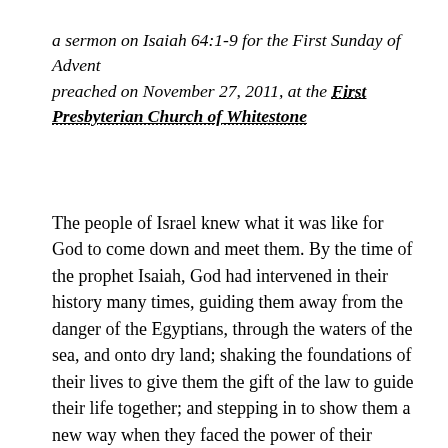a sermon on Isaiah 64:1-9 for the First Sunday of Advent
preached on November 27, 2011, at the First Presbyterian Church of Whitestone
The people of Israel knew what it was like for God to come down and meet them. By the time of the prophet Isaiah, God had intervened in their history many times, guiding them away from the danger of the Egyptians, through the waters of the sea, and onto dry land; shaking the foundations of their lives to give them the gift of the law to guide their life together; and stepping in to show them a new way when they faced the power of their enemies. God was the only god